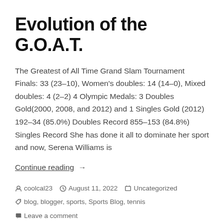Evolution of the G.O.A.T.
The Greatest of All Time Grand Slam Tournament Finals: 33 (23–10), Women's doubles: 14 (14–0), Mixed doubles: 4 (2–2) 4 Olympic Medals: 3 Doubles Gold(2000, 2008, and 2012) and 1 Singles Gold (2012) 192–34 (85.0%) Doubles Record 855–153 (84.8%) Singles Record She has done it all to dominate her sport and now, Serena Williams is
Continue reading →
coolcal23   August 11, 2022   Uncategorized   blog, blogger, sports, Sports Blog, tennis   Leave a comment